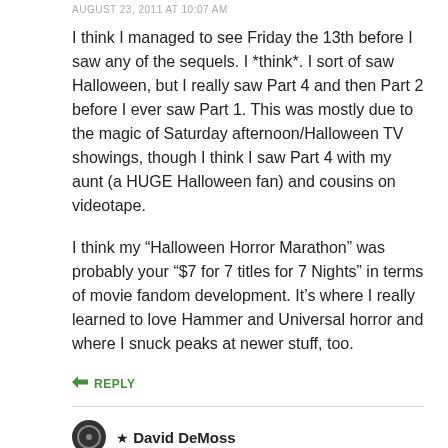AUGUST 23, 2011 AT 10:07 AM
I think I managed to see Friday the 13th before I saw any of the sequels. I *think*. I sort of saw Halloween, but I really saw Part 4 and then Part 2 before I ever saw Part 1. This was mostly due to the magic of Saturday afternoon/Halloween TV showings, though I think I saw Part 4 with my aunt (a HUGE Halloween fan) and cousins on videotape.

I think my “Halloween Horror Marathon” was probably your “$7 for 7 titles for 7 Nights” in terms of movie fandom development. It’s where I really learned to love Hammer and Universal horror and where I snuck peaks at newer stuff, too.
REPLY
★ David DeMoss